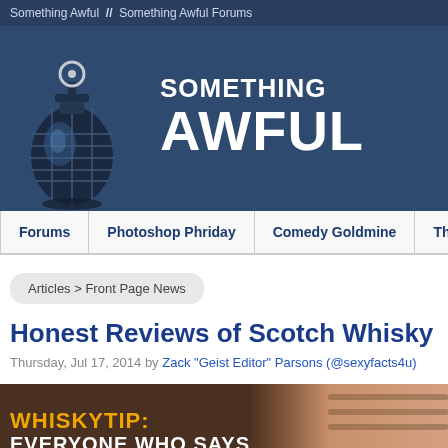Something Awful  //  Something Awful Forums
[Figure (logo): Something Awful website header with grenade logo and site name 'SOMETHING AWFUL' in white bold text on dark blue background]
Forums  |  Photoshop Phriday  |  Comedy Goldmine  |  The Flash Tub  |  WTF, D...
Articles > Front Page News
Honest Reviews of Scotch Whisky
Thursday, Jul 17, 2014 by Zack "Geist Editor" Parsons (@sexyfacts4u)
[Figure (photo): Whisky tip banner image with text 'WHISKYTIP: EVERYONE WHO SAYS' in yellow and white bold letters on dark brown background with a person visible on the right side]